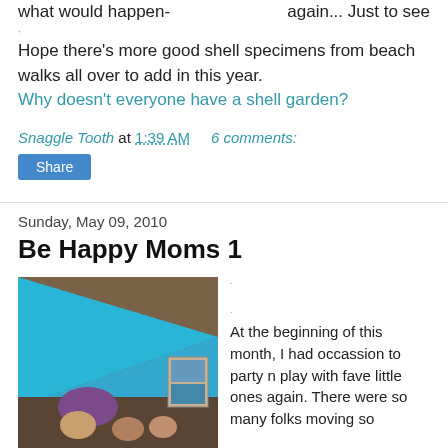again... Just to see what would happen-
Hope there's more good shell specimens from beach walks all over to add in this year.
Why doesn't everyone have a shell garden?
Snaggle Tooth at 1:39 AM    6 comments:
Share
Sunday, May 09, 2010
Be Happy Moms 1
[Figure (photo): Photo of people at a party with a large blue triangular fabric/banner visible in the foreground]
At the beginning of this month, I had occassion to party n play with fave little ones again. There were so many folks moving so